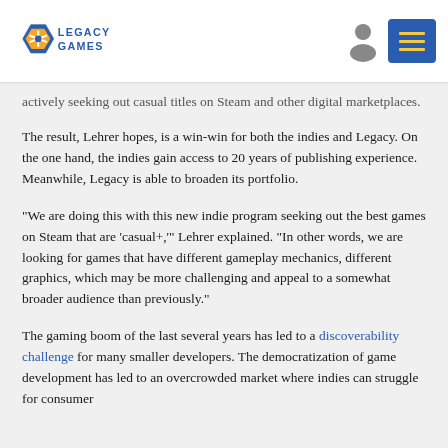Legacy Games
actively seeking out casual titles on Steam and other digital marketplaces.
The result, Lehrer hopes, is a win-win for both the indies and Legacy. On the one hand, the indies gain access to 20 years of publishing experience. Meanwhile, Legacy is able to broaden its portfolio.
“We are doing this with this new indie program seeking out the best games on Steam that are ‘casual+,’” Lehrer explained. “In other words, we are looking for games that have different gameplay mechanics, different graphics, which may be more challenging and appeal to a somewhat broader audience than previously.”
The gaming boom of the last several years has led to a discoverability challenge for many smaller developers. The democratization of game development has led to an overcrowded market where indies can struggle for consumer